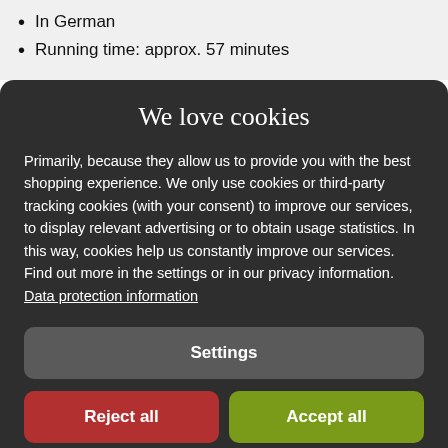In German
Running time: approx. 57 minutes
We love cookies
Primarily, because they allow us to provide you with the best shopping experience. We only use cookies or third-party tracking cookies (with your consent) to improve our services, to display relevant advertising or to obtain usage statistics. In this way, cookies help us constantly improve our services. Find out more in the settings or in our privacy information. Data protection information
Settings
Reject all
Accept all